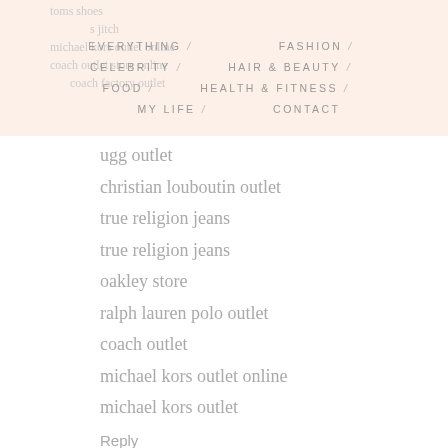EVERYTHING / FASHION / CELEBRITY / HAIR & BEAUTY / FOOD / HEALTH & FITNESS / MY LIFE / CONTACT
ugg outlet
christian louboutin outlet
true religion jeans
true religion jeans
oakley store
ralph lauren polo outlet
coach outlet
michael kors outlet online
michael kors outlet
Reply
刷刷刷  March 19, 2016 at 2:29 AM
jianbin0319
cheap snapbacks
michael kors outlet
longchamp handbags
cheap jordans